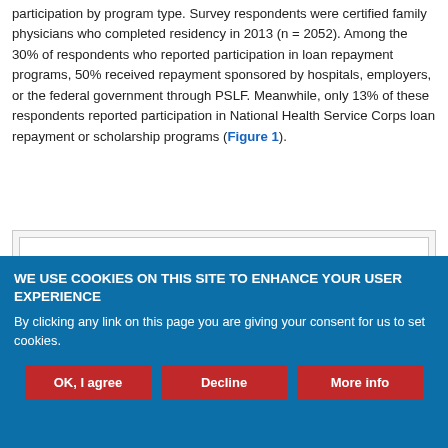participation by program type. Survey respondents were certified family physicians who completed residency in 2013 (n = 2052). Among the 30% of respondents who reported participation in loan repayment programs, 50% received repayment sponsored by hospitals, employers, or the federal government through PSLF. Meanwhile, only 13% of these respondents reported participation in National Health Service Corps loan repayment or scholarship programs (Figure 1).
[Figure (other): Partially visible figure box (Figure 1) showing a chart, mostly cut off at the bottom of the content area.]
WE USE COOKIES ON THIS SITE TO ENHANCE YOUR USER EXPERIENCE
By clicking any link on this page you are giving your consent for us to set cookies.